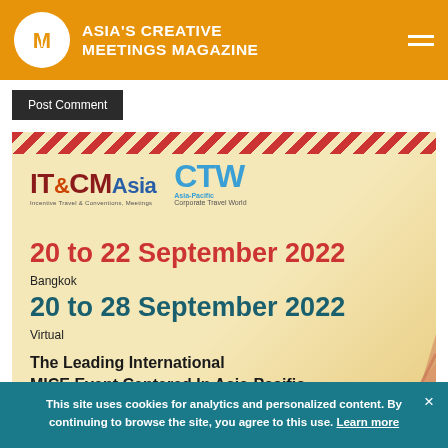ASIA'S CREATIVE MEETINGS MAGAZINE
Post Comment
[Figure (infographic): IT&CM Asia and CTW Asia-Pacific event advertisement banner showing event dates 20 to 22 September 2022 Bangkok and 20 to 28 September 2022 Virtual, with tagline The Leading International MICE Event Centered In Asia-Pacific]
This site uses cookies for analytics and personalized content. By continuing to browse the site, you agree to this use. Learn more